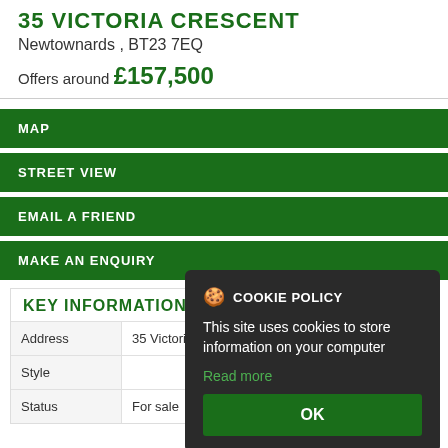35 VICTORIA CRESCENT
Newtownards , BT23 7EQ
Offers around £157,500
MAP
STREET VIEW
EMAIL A FRIEND
MAKE AN ENQUIRY
KEY INFORMATION
|  |  |
| --- | --- |
| Address | 35 Victoria Crescent, Newtownards |
| Style |  |
| Status | For sale |
[Figure (screenshot): Cookie policy modal dialog overlay with dark background, showing cookie icon, 'COOKIE POLICY' title, explanatory text 'This site uses cookies to store information on your computer', a 'Read more' link in green, and a green 'OK' button.]